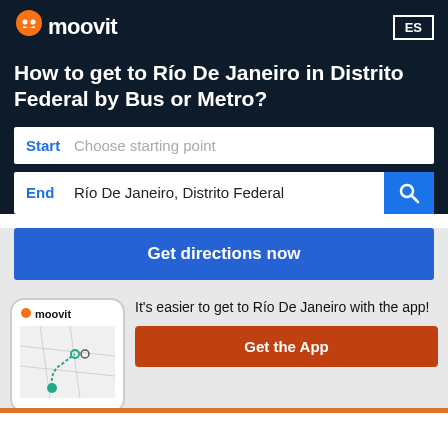[Figure (logo): Moovit logo — orange location pin icon with smiley face followed by 'moovit' in white bold text]
ES
How to get to Río De Janeiro in Distrito Federal by Bus or Metro?
Start  Choose starting point
End  Río De Janeiro, Distrito Federal
Get directions now
[Figure (screenshot): Phone mockup showing Moovit app with a map and route dots]
It's easier to get to Río De Janeiro with the app!
Get the App